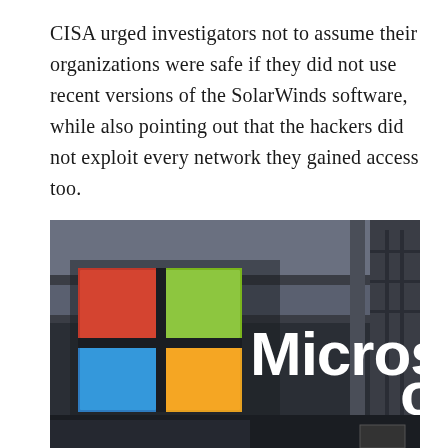CISA urged investigators not to assume their organizations were safe if they did not use recent versions of the SolarWinds software, while also pointing out that the hackers did not exploit every network they gained access too.
[Figure (photo): Photograph of a Microsoft building sign showing the Microsoft four-color logo (red, green, blue, yellow squares) and the word 'Microsoft' in large white letters on a glass facade.]